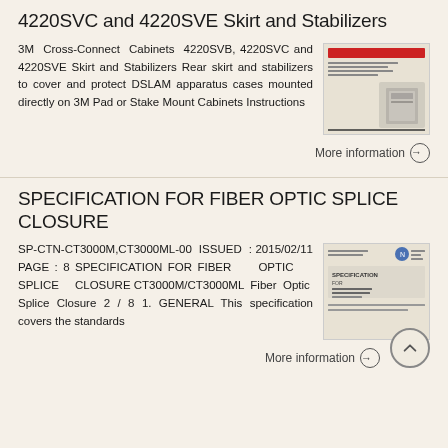4220SVC and 4220SVE Skirt and Stabilizers
3M Cross-Connect Cabinets 4220SVB, 4220SVC and 4220SVE Skirt and Stabilizers Rear skirt and stabilizers to cover and protect DSLAM apparatus cases mounted directly on 3M Pad or Stake Mount Cabinets Instructions
[Figure (photo): Thumbnail image of 3M Cross-Connect Cabinet document cover showing cabinet product photo]
More information →
SPECIFICATION FOR FIBER OPTIC SPLICE CLOSURE
SP-CTN-CT3000M,CT3000ML-00 ISSUED : 2015/02/11 PAGE : 8 SPECIFICATION FOR FIBER OPTIC SPLICE CLOSURE CT3000M/CT3000ML Fiber Optic Splice Closure 2 / 8 1. GENERAL This specification covers the standards
[Figure (photo): Thumbnail image of Specification for Fiber Optic Splice Closure document cover]
More information →